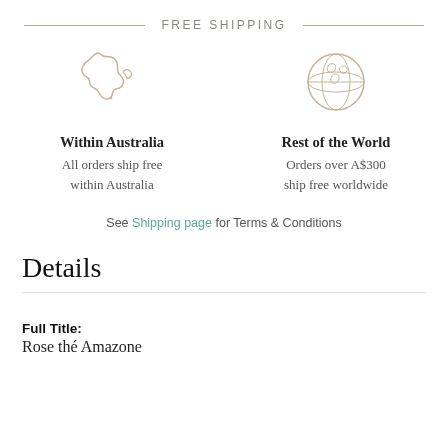FREE SHIPPING
[Figure (illustration): Outline icon of Australia map in tan/beige color]
Within Australia
All orders ship free within Australia
[Figure (illustration): Outline icon of globe/world in tan/beige color]
Rest of the World
Orders over A$300 ship free worldwide
See Shipping page for Terms & Conditions
Details
Full Title:
Rose thé Amazone